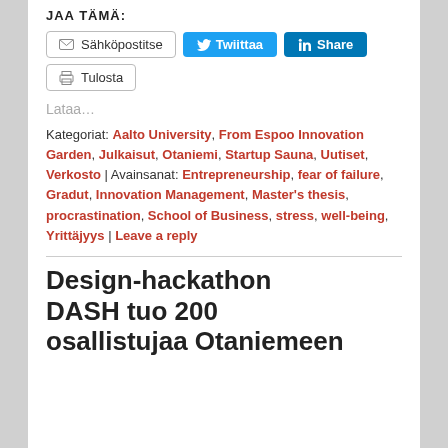JAA TÄMÄ:
Sähköpostitse | Twiittaa | Share | Tulosta
Lataa…
Kategoriat: Aalto University, From Espoo Innovation Garden, Julkaisut, Otaniemi, Startup Sauna, Uutiset, Verkosto | Avainsanat: Entrepreneurship, fear of failure, Gradut, Innovation Management, Master's thesis, procrastination, School of Business, stress, well-being, Yrittäjyys | Leave a reply
Design-hackathon DASH tuo 200 osallistujaa Otaniemeen